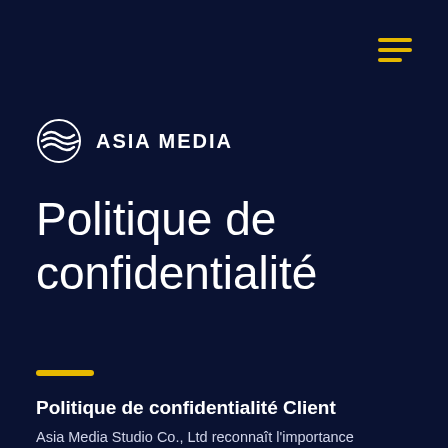[Figure (logo): Asia Media logo with stylized globe/wave icon and text ASIA MEDIA]
Politique de confidentialité
Politique de confidentialité Client
Asia Media Studio Co., Ltd reconnaît l'importance de la protection de vos données personnelles. Cette politique de confidentialité s'applique...